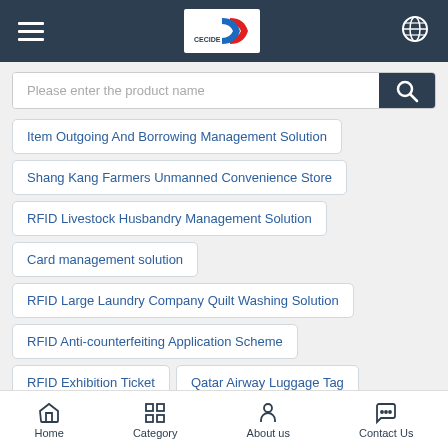Navigation bar with hamburger menu, logo, and globe icon
Please enter the product name
Item Outgoing And Borrowing Management Solution
Shang Kang Farmers Unmanned Convenience Store
RFID Livestock Husbandry Management Solution
Card management solution
RFID Large Laundry Company Quilt Washing Solution
RFID Anti-counterfeiting Application Scheme
RFID Exhibition Ticket
Qatar Airway Luggage Tag
British Telecom Calling Card
EPS Hospital RFID Wristband
Cartier Jewelry RFID Tag
Home | Category | About us | Contact Us